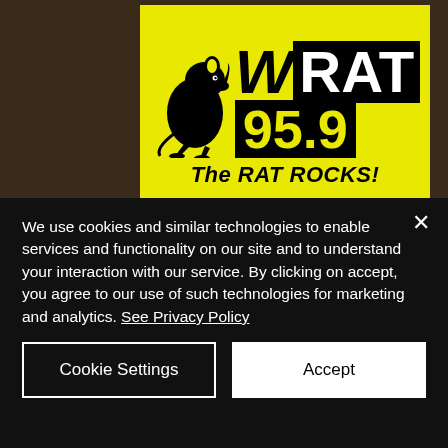[Figure (logo): WRAT 95.9 The RAT ROCKS! radio station logo on yellow background with cartoon rat mascot]
[Figure (logo): Circular boxing gloves logo with EST. 2017 text on red background]
We use cookies and similar technologies to enable services and functionality on our site and to understand your interaction with our service. By clicking on accept, you agree to our use of such technologies for marketing and analytics. See Privacy Policy
Cookie Settings
Accept